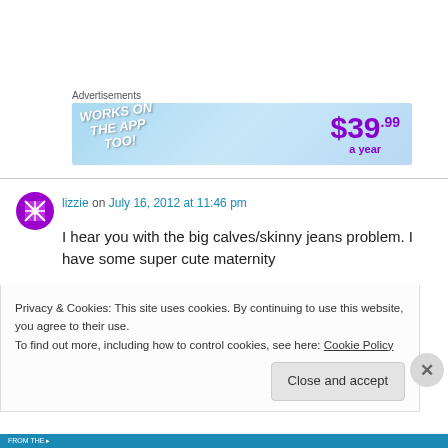[Figure (screenshot): Advertisement banner with light blue gradient background. Left side shows 'WORKS ON THE APP TOO!' text in white italic bold. Right side shows '$39.99 a year' in large purple bold text.]
lizzie on July 16, 2012 at 11:46 pm
I hear you with the big calves/skinny jeans problem. I have some super cute maternity
Privacy & Cookies: This site uses cookies. By continuing to use this website, you agree to their use.
To find out more, including how to control cookies, see here: Cookie Policy
Close and accept